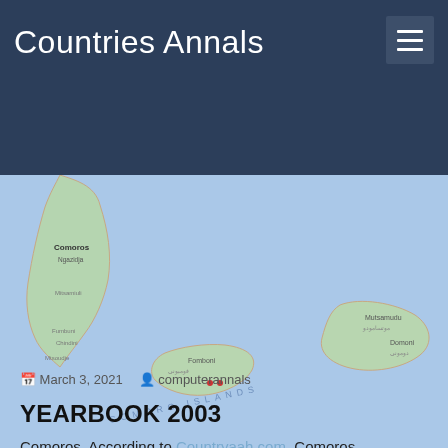Countries Annals
[Figure (map): Map of the Comoro Islands in the Indian Ocean, showing three main islands. The northernmost large island (Ngazidja/Grand Comore) is partially shown at top left extending into the dark header. A middle island (Ndzuwani/Anjouan) labeled Fomboni area appears center, and a smaller island (Mwali/Mohéli) labeled with Mutsamudu and Domoni appears to the right. Water is light blue, islands are green, with place names labeled. Text 'COMORO ISLANDS' appears diagonally across the water.]
March 3, 2021   computerannals
YEARBOOK 2003
Comoros. According to Countryaah.com, Comoros